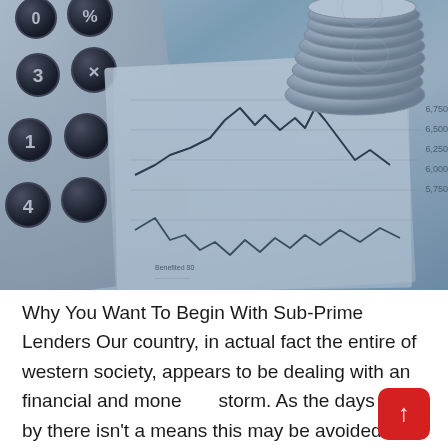[Figure (photo): A blue-tinted photograph showing a calculator, stock market chart papers with line graphs and numbers (showing values like 6,750, 6,500, 6,250, 6,000, 5,750), and a stack of silver coins arranged in the upper right corner.]
Why You Want To Begin With Sub-Prime Lenders Our country, in actual fact the entire of western society, appears to be dealing with an financial and monetary storm. As the days go by there isn't a means this may be avoided. For a lot of it's going to be exceedingly painful